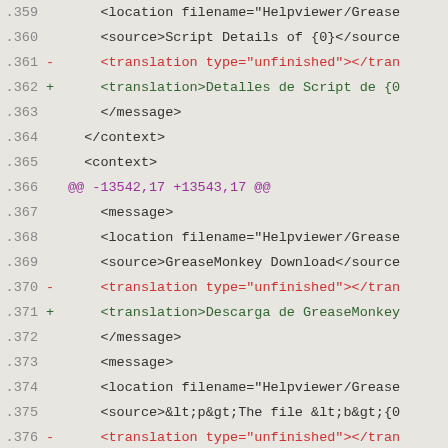Code diff view showing lines 359-379 of a translation file
.359        <location filename="Helpviewer/Grease
.360        <source>Script Details of {0}</source
.361 -      <translation type="unfinished"></tran
.362 +      <translation>Detalles de Script de {0
.363        </message>
.364    </context>
.365    <context>
.366 @@ -13542,17 +13543,17 @@
.367        <message>
.368        <location filename="Helpviewer/Grease
.369        <source>GreaseMonkey Download</source
.370 -      <translation type="unfinished"></tran
.371 +      <translation>Descarga de GreaseMonkey
.372        </message>
.373        <message>
.374        <location filename="Helpviewer/Grease
.375        <source>&lt;p&gt;The file &lt;b&gt;{0
.376 -      <translation type="unfinished"></tran
.377 +      <translation>&lt;p&gt;El archivo &lt;
.378        </message>
.379        <message>